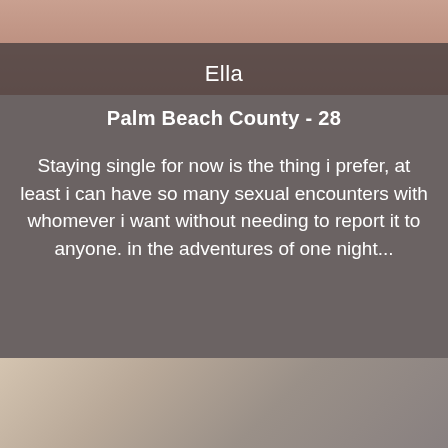[Figure (photo): Blurred photo of a person, warm reddish-brown tones, top portion of a dating profile card]
Ella
Palm Beach County - 28
Staying single for now is the thing i prefer, at least i can have so many sexual encounters with whomever i want without needing to report it to anyone. in the adventures of one night...
[Figure (photo): Blurred photo background, light beige and grey tones, bottom portion of the page]